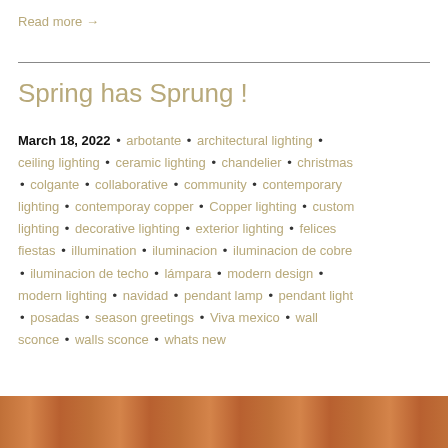Read more →
Spring has Sprung !
March 18, 2022 • arbotante • architectural lighting • ceiling lighting • ceramic lighting • chandelier • christmas • colgante • collaborative • community • contemporary lighting • contemporay copper • Copper lighting • custom lighting • decorative lighting • exterior lighting • felices fiestas • illumination • iluminacion • iluminacion de cobre • iluminacion de techo • lámpara • modern design • modern lighting • navidad • pendant lamp • pendant light • posadas • season greetings • Viva mexico • wall sconce • walls sconce • whats new
[Figure (photo): Bottom orange/copper toned image strip, partial view of what appears to be copper lighting product]